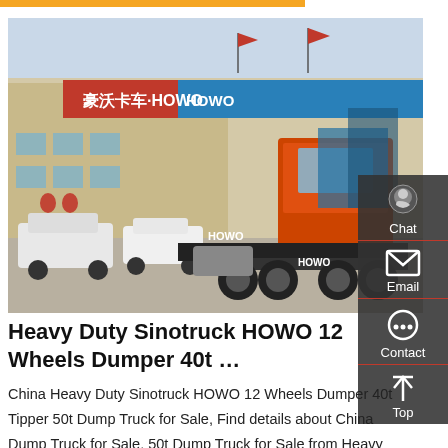[Figure (photo): Orange HOWO heavy duty dump truck rear view parked in front of a Sinotruck HOWO dealership with blue and red signage, other vehicles visible in background]
Heavy Duty Sinotruck HOWO 12 Wheels Dumper 40t …
China Heavy Duty Sinotruck HOWO 12 Wheels Dumper 40t Tipper 50t Dump Truck for Sale, Find details about China Dump Truck for Sale, 50t Dump Truck for Sale from Heavy